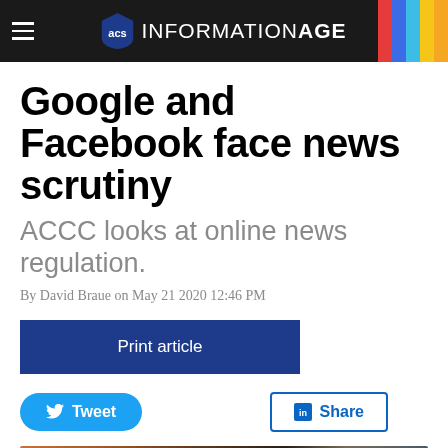INFORMATION AGE
Google and Facebook face news scrutiny
ACCC looks at online news regulation.
By David Braue on May 21 2020 12:46 PM
Print article
Tweet
Share
[Figure (photo): Bottom strip showing a person's image, partially visible]